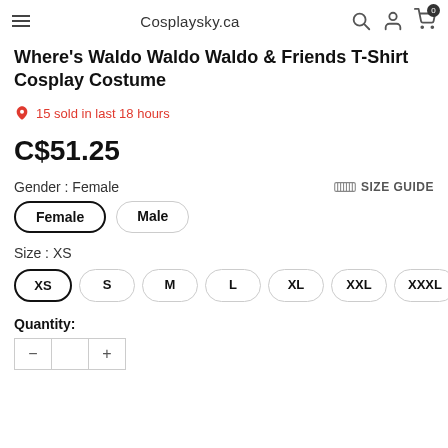Cosplaysky.ca
Where's Waldo Waldo Waldo & Friends T-Shirt Cosplay Costume
15 sold in last 18 hours
C$51.25
Gender : Female
SIZE GUIDE
Female
Male
Size : XS
XS
S
M
L
XL
XXL
XXXL
Quantity: